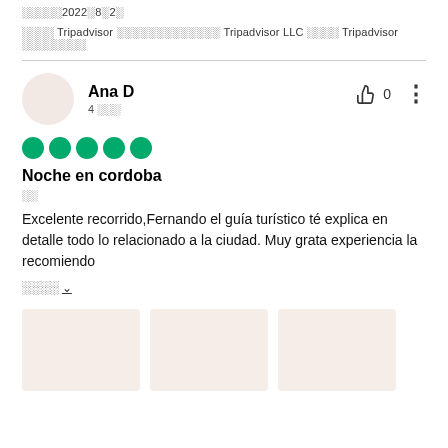░░░░░2022░8░2░
░░░░ Tripadvisor ░░░░░░░░░░░░░ Tripadvisor LLC ░░░░ Tripadvisor ░░░░░░░░
Ana D
4 ░░░
[Figure (other): Five green circle rating dots (5/5 stars)]
Noche en cordoba
░░
Excelente recorrido,Fernando el guía turístico té explica en detalle todo lo relacionado a la ciudad. Muy grata experiencia la recomiendo
░░░░ ∨
[Figure (photo): Three photo thumbnails (light beige/cream colored placeholder images)]